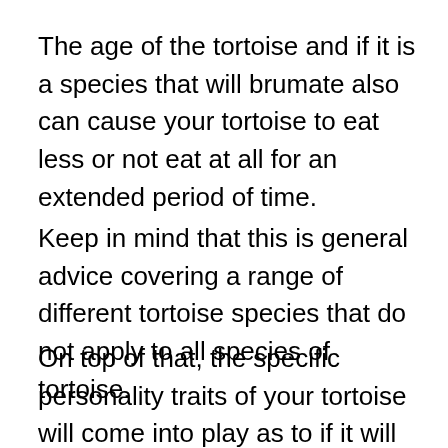The age of the tortoise and if it is a species that will brumate also can cause your tortoise to eat less or not eat at all for an extended period of time.
Keep in mind that this is general advice covering a range of different tortoise species that do not apply to all species of tortoise.
On top of that, the specific personality traits of your tortoise will come into play as to if it will eat normally when placed in a new environment or not too. It is very common for